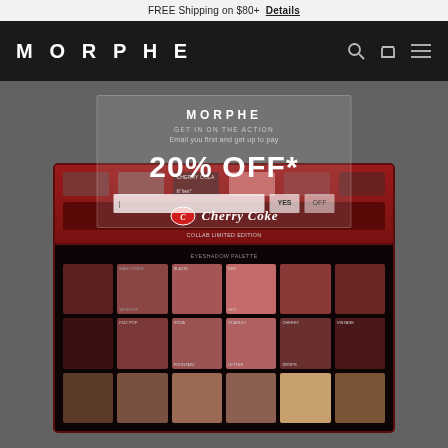FREE Shipping on $80+  Details
MORPHE
GET IN ON THE ACTION
Email you first and get up to pay
20% OFF*
[Figure (photo): Morphe x Cherry Coke eyeshadow palette shown open with 18 pans in warm red, burgundy, and neutral brown shades arranged in 3 rows of 6, inside a red Cherry Coke branded tin]